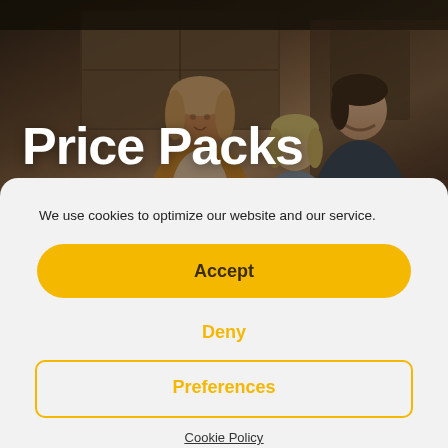[Figure (photo): Hero background photo of people in an office/meeting room setting, slightly dark overlay. Two women and a man visible. One woman smiling, another looking at a laptop, man in background.]
Price Packs
We use cookies to optimize our website and our service.
Accept
Deny
Preferences
Cookie Policy